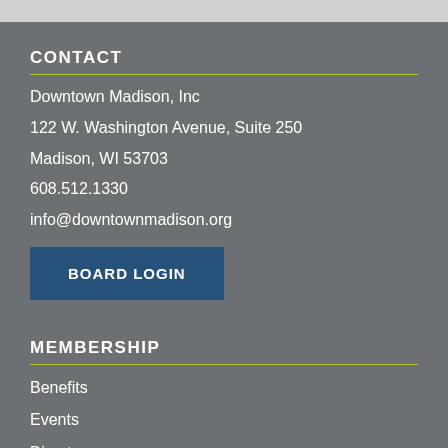CONTACT
Downtown Madison, Inc
122 W. Washington Avenue, Suite 250
Madison, WI 53703
608.512.1330
info@downtownmadison.org
BOARD LOGIN
MEMBERSHIP
Benefits
Events
Directory
Membership Application